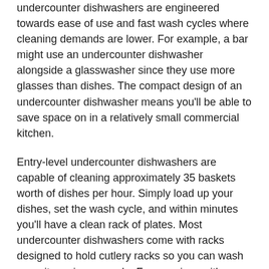undercounter dishwashers are engineered towards ease of use and fast wash cycles where cleaning demands are lower. For example, a bar might use an undercounter dishwasher alongside a glasswasher since they use more glasses than dishes. The compact design of an undercounter dishwasher means you'll be able to save space on in a relatively small commercial kitchen.
Entry-level undercounter dishwashers are capable of cleaning approximately 35 baskets worth of dishes per hour. Simply load up your dishes, set the wash cycle, and within minutes you'll have a clean rack of plates. Most undercounter dishwashers come with racks designed to hold cutlery racks so you can wash more items in one cycle. For premises with single-phase electricity, undercounter dishwashers make sense since most of these machines can be powered by a standard 3-pin plug. However, 15 amp power is required.
As expected, these types of dishwashers are required to be plumbed into the main water supply. Do note that not every undercounter dishwasher comes with a drain pump. This